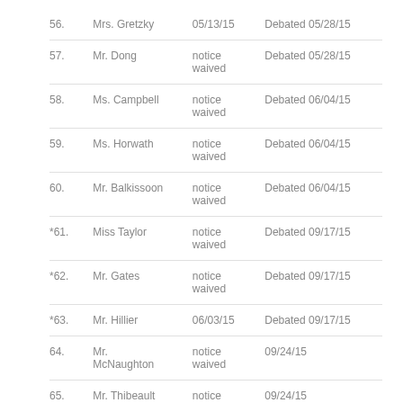| No. | Name | Notice | Status |
| --- | --- | --- | --- |
| 56. | Mrs. Gretzky | 05/13/15 | Debated 05/28/15 |
| 57. | Mr. Dong | notice waived | Debated 05/28/15 |
| 58. | Ms. Campbell | notice waived | Debated 06/04/15 |
| 59. | Ms. Horwath | notice waived | Debated 06/04/15 |
| 60. | Mr. Balkissoon | notice waived | Debated 06/04/15 |
| *61. | Miss Taylor | notice waived | Debated 09/17/15 |
| *62. | Mr. Gates | notice waived | Debated 09/17/15 |
| *63. | Mr. Hillier | 06/03/15 | Debated 09/17/15 |
| 64. | Mr. McNaughton | notice waived | 09/24/15 |
| 65. | Mr. Thibeault | notice waived | 09/24/15 |